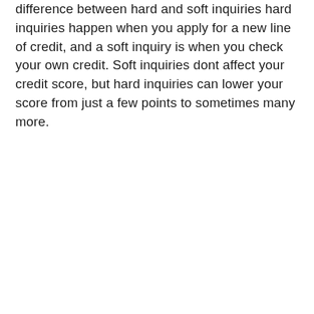difference between hard and soft inquiries hard inquiries happen when you apply for a new line of credit, and a soft inquiry is when you check your own credit. Soft inquiries dont affect your credit score, but hard inquiries can lower your score from just a few points to sometimes many more.